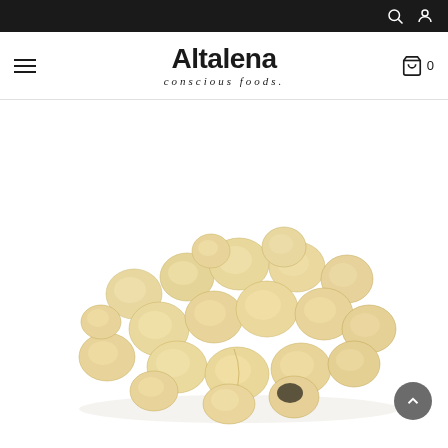Altalena conscious foods. — navigation bar with search, account, hamburger menu, and cart (0)
SOLD OUT
[Figure (photo): A pile of raw macadamia nuts on a white background]